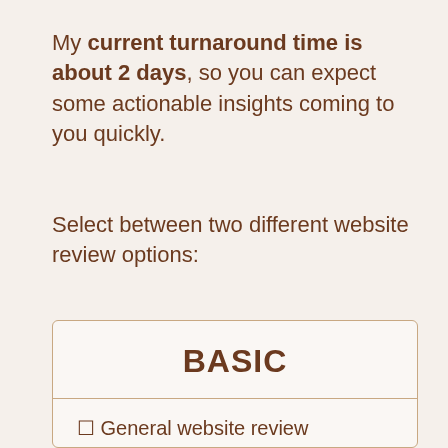My current turnaround time is about 2 days, so you can expect some actionable insights coming to you quickly.
Select between two different website review options:
BASIC
□ General website review
□ 20-30 minute video of my findings